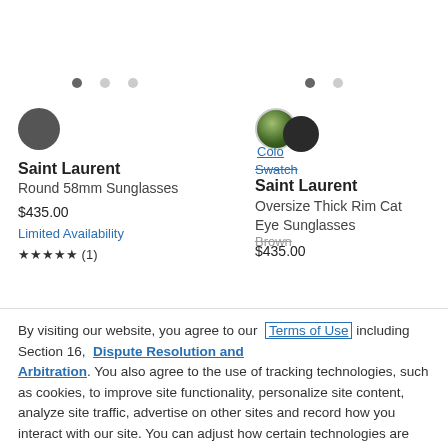[Figure (other): Dot navigation indicators - left side: one filled dark dot, two light dots]
[Figure (other): Dot navigation indicators - right side: one filled dark dot, one light dot]
[Figure (other): Dark gray circular color swatch for left product]
Saint Laurent
Round 58mm Sunglasses
$435.00
Limited Availability
★★★★★ (1)
[Figure (other): Color swatch showing green/earth tone circle and dark overlapping circle, with 'Color' and 'Swatch' labels]
Saint Laurent
Oversize Thick Rim Cat Eye Sunglasses
$435.00
Brown
× By visiting our website, you agree to our Terms of Use including Section 16, Dispute Resolution and Arbitration. You also agree to the use of tracking technologies, such as cookies, to improve site functionality, personalize site content, analyze site traffic, advertise on other sites and record how you interact with our site. You can adjust how certain technologies are used on our site through Cookie Settings.